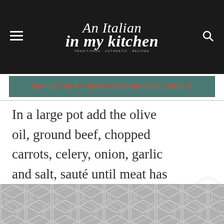An Italian in my kitchen
SIGN UP FOR MY NEWSLETTER AND FREE EBOOK
In a large pot add the olive oil, ground beef, chopped carrots, celery, onion, garlic and salt, sauté until meat has started to brown, then add the tomato pure, water and spices, cook on medium/low heat until thickened.
[Figure (other): Geometric hexagon pattern placeholder image at bottom of page]